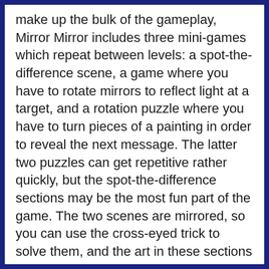make up the bulk of the gameplay, Mirror Mirror includes three mini-games which repeat between levels: a spot-the-difference scene, a game where you have to rotate mirrors to reflect light at a target, and a rotation puzzle where you have to turn pieces of a painting in order to reveal the next message. The latter two puzzles can get repetitive rather quickly, but the spot-the-difference sections may be the most fun part of the game. The two scenes are mirrored, so you can use the cross-eyed trick to solve them, and the art in these sections may be the finest in the game.
Feel free to use hints the second you get stuck because the game practically throws them at you. Every mirrored scene contains three hint tokens to find, and you get a hint token for completing the other two mini-games as well, plus when you move to the next level your hints are refilled.